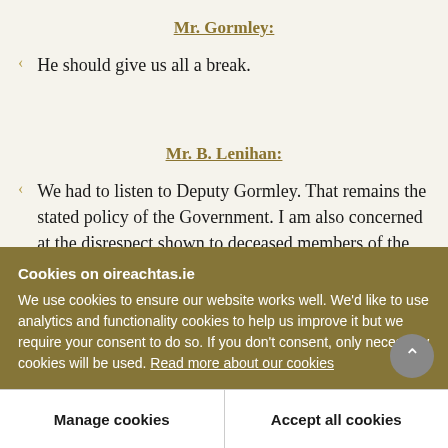Mr. Gormley:
He should give us all a break.
Mr. B. Lenihan:
We had to listen to Deputy Gormley. That remains the stated policy of the Government. I am also concerned at the disrespect shown to deceased members of the Defence Forces by the
Cookies on oireachtas.ie
We use cookies to ensure our website works well. We'd like to use analytics and functionality cookies to help us improve it but we require your consent to do so. If you don't consent, only necessary cookies will be used. Read more about our cookies
Manage cookies
Accept all cookies